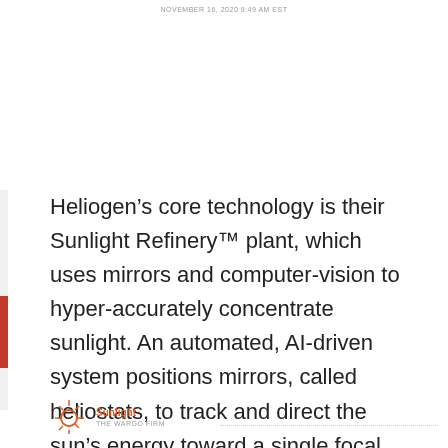NOVEMBER 16, 2020 9:49 AM EST
Heliogen’s core technology is their Sunlight Refinery™ plant, which uses mirrors and computer-vision to hyper-accurately concentrate sunlight. An automated, AI-driven system positions mirrors, called heliostats, to track and direct the sun’s energy toward a single focal point.
Sunlight THE WARGO FIRM